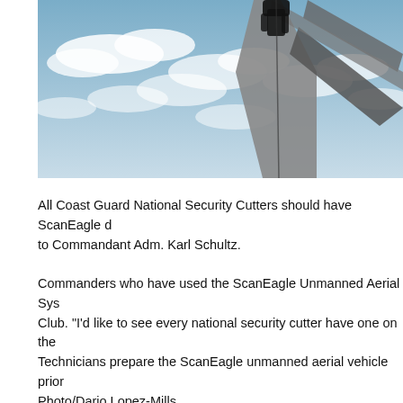[Figure (photo): A technician or person in dark clothing working on a ScanEagle unmanned aerial vehicle. The drone is light gray/silver and the photo is taken from a low angle against a blue sky with clouds. The image is cropped showing the drone's fuselage and tail section with a person partially visible at the top.]
All Coast Guard National Security Cutters should have ScanEagle drones, according to Commandant Adm. Karl Schultz.
Commanders who have used the ScanEagle Unmanned Aerial System praised the Club. "I'd like to see every national security cutter have one on the"
Technicians prepare the ScanEagle unmanned aerial vehicle prior Photo/Dario Lopez-Mills